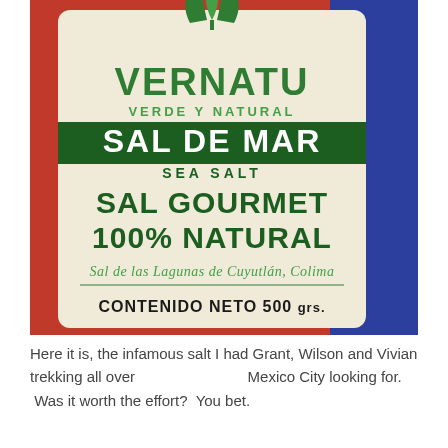[Figure (photo): Photo of a fabric bag of 'VERNATU Sal de Mar' (sea salt). The bag has a beige/linen texture with green printed text. Top has a green leaf/tulip logo with 'VERNATU' in large green letters. Below that 'VERDE Y NATURAL' in smaller green text, then a dark green banner reading 'SAL DE MAR', below that 'SEA SALT', then large dark green text 'SAL GOURMET 100% NATURAL', cursive green text below that, and at the bottom 'CONTENIDO NETO 500 grs.' The bag is resting on a colorful red and blue textile background.]
Here it is, the infamous salt I had Grant, Wilson and Vivian trekking all over                                Mexico City looking for.  Was it worth the effort?  You bet.